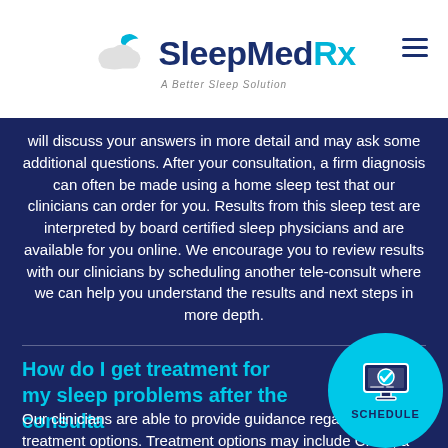SleepMedRx — A Better Sleep Solution
will discuss your answers in more detail and may ask some additional questions. After your consultation, a firm diagnosis can often be made using a home sleep test that our clinicians can order for you. Results from this sleep test are interpreted by board certified sleep physicians and are available for you online. We encourage you to review results with our clinicians by scheduling another tele-consult where we can help you understand the results and next steps in more depth.
How do I get treatment for my sleep problems after the consultation?
Our clinicians are able to provide guidance regarding treatment options. Treatment options may include CPAP, a